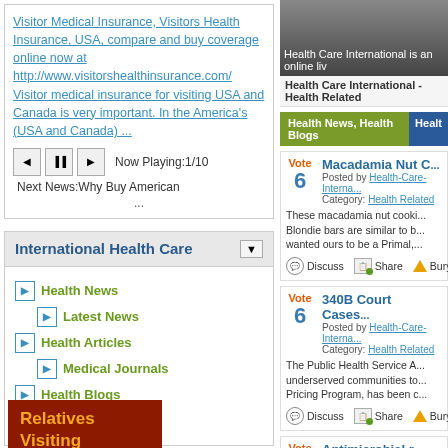Visitor Medical Insurance, Visitors Health Insurance, USA, compare and buy coverage online now at http://www.visitorshealthinsurance.com/ Visitor medical insurance for visiting USA and Canada is very important. In the America's (USA and Canada) ...
Now Playing:1/10
Next News:Why Buy American
...
International Health Care
Health News
Latest News
Health Articles
Medical Journals
Health Blogs
Health Related
[Figure (screenshot): Health Care International website header image with headphones]
Health Care International - Health Related
Health News, Health Blogs
Vote
6
Macadamia Nut C
Posted by Health-Care-Interna...
Category: Health Related
These macadamia nut cooki... Blondie bars are similar to b... wanted ours to be a Primal,...
Discuss  Share  Bury
Vote
6
340B Court Cases
Posted by Health-Care-Interna...
Category: Health Related
The Public Health Service A... underserved communities to... Pricing Program, has been c...
Discuss  Share  Bury
Vote
Antimicrobial r...
Relatives Visiting